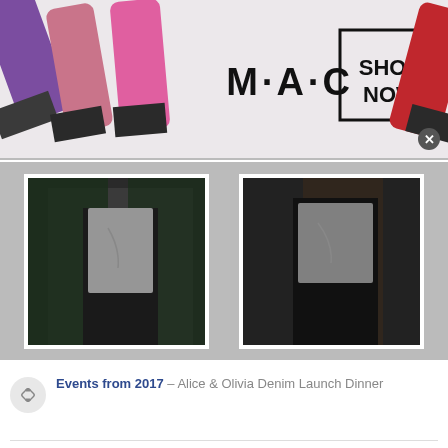[Figure (screenshot): MAC Cosmetics banner advertisement showing lipsticks in purple, pink, and red with MAC logo and 'SHOP NOW' button in a bordered box. Close button visible.]
[Figure (photo): Two side-by-side event photos on dark grey background, showing people at Alice & Olivia Denim Launch Dinner 2017.]
Events from 2017 – Alice & Olivia Denim Launch Dinner
16 like(s)  /  No comments
EVENTS  GALLERY
[Figure (screenshot): Bottom advertisement for Chewy.com: 'Pet Food, Products, Supplies at Low Prices - Pay the lowest prices on pet supplies at Chewy.com' with thumbnail image, arrow navigation button, and close button.]